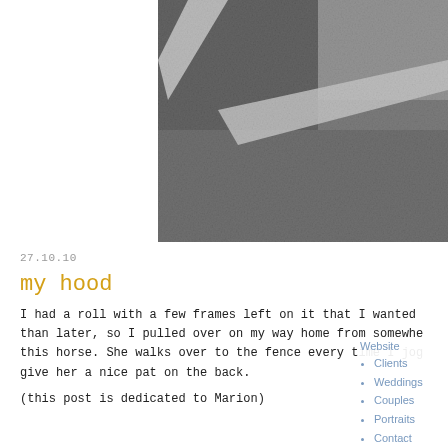[Figure (photo): Black and white photograph of a road or pavement with white painted lines/markings, close-up aerial or ground-level view showing textured asphalt with white diagonal lines.]
27.10.10
my hood
I had a roll with a few frames left on it that I wanted than later, so I pulled over on my way home from somewhe this horse. She walks over to the fence every time I jog give her a nice pat on the back.
(this post is dedicated to Marion)
Website
Clients
Weddings
Couples
Portraits
Contact